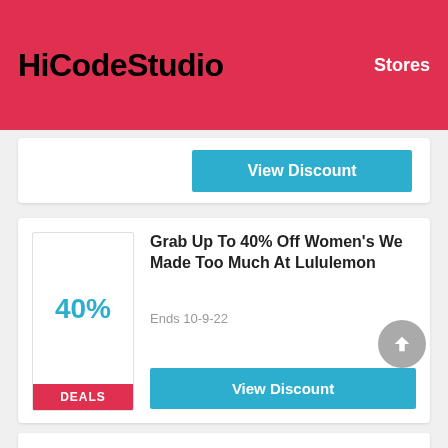HiCodeStudio   Stores
View Discount
40%
DEALS
Grab Up To 40% Off Women's We Made Too Much At Lululemon
Ends 10-9-22
View Discount